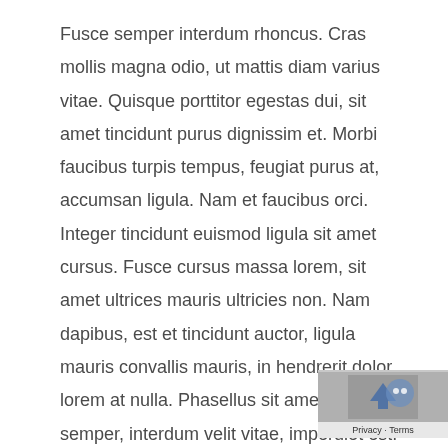Fusce semper interdum rhoncus. Cras mollis magna odio, ut mattis diam varius vitae. Quisque porttitor egestas dui, sit amet tincidunt purus dignissim et. Morbi faucibus turpis tempus, feugiat purus at, accumsan ligula. Nam et faucibus orci. Integer tincidunt euismod ligula sit amet cursus. Fusce cursus massa lorem, sit amet ultrices mauris ultricies non. Nam dapibus, est et tincidunt auctor, ligula mauris convallis mauris, in hendrerit dolor lorem at nulla. Phasellus sit amet ligula semper, interdum velit vitae, imperdiet est. Curabitur vel sem velit. Integer elit